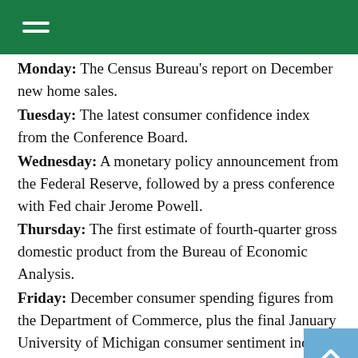Monday: The Census Bureau's report on December new home sales.
Tuesday: The latest consumer confidence index from the Conference Board.
Wednesday: A monetary policy announcement from the Federal Reserve, followed by a press conference with Fed chair Jerome Powell.
Thursday: The first estimate of fourth-quarter gross domestic product from the Bureau of Economic Analysis.
Friday: December consumer spending figures from the Department of Commerce, plus the final January University of Michigan consumer sentiment index (a gauge of consumer confidence levels).